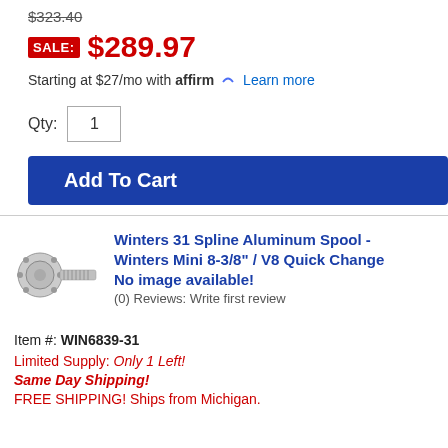$323.40 (strikethrough original price)
SALE: $289.97
Starting at $27/mo with affirm. Learn more
Qty: 1
Add To Cart
[Figure (photo): Photo of Winters 31 Spline Aluminum Spool automotive part]
Winters 31 Spline Aluminum Spool - Winters Mini 8-3/8" / V8 Quick Change
No image available!
(0) Reviews: Write first review
Item #: WIN6839-31
Limited Supply: Only 1 Left!
Same Day Shipping!
FREE SHIPPING! Ships from Michigan.